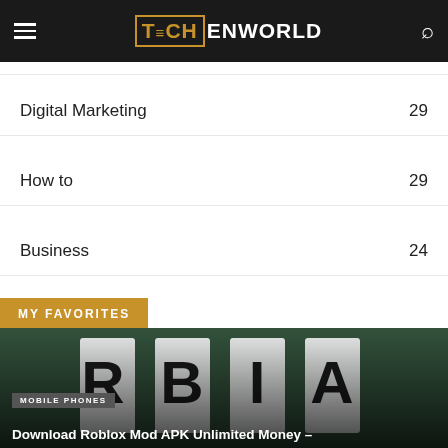TECHENWORLD
Digital Marketing 29
How to 29
Business 24
MY FAVORITES
[Figure (photo): Photo showing large letters 'RBIA' or similar characters against a leafy green background, with overlay text showing article title]
MOBILE PHONES
Download Roblox Mod APK Unlimited Money –